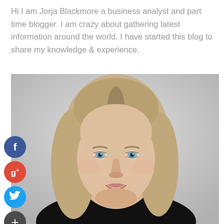Hi I am Jorja Blackmore a business analyst and part time blogger. I am crazy about gathering latest information around the world. I have started this blog to share my knowledge & experience.
[Figure (photo): Headshot portrait of a middle-aged woman with shoulder-length blonde-grey hair, blue eyes, wearing a black top, smiling slightly against a light grey background. Social media icons (Facebook, Google+, Twitter, and a plus/add button) are overlaid on the left side of the photo.]